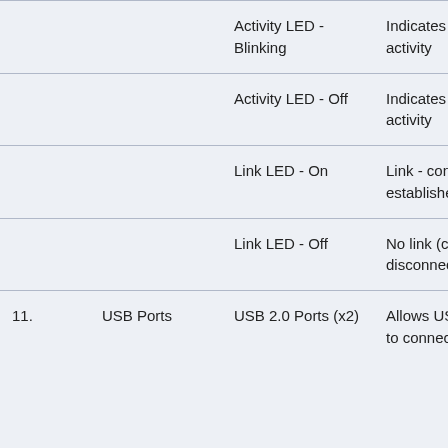|  |  | Activity LED - Blinking | Indicates network activity |
|  |  | Activity LED - Off | Indicates no network activity |
|  |  | Link LED - On | Link - connection established |
|  |  | Link LED - Off | No link (cable disconnected) |
| 11. | USB Ports | USB 2.0 Ports (x2) | Allows USB devices to connect to the |